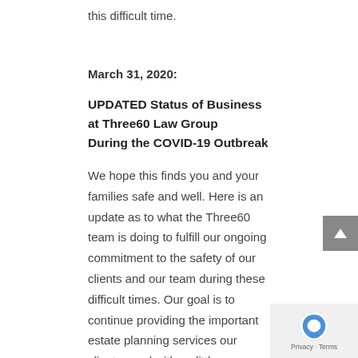this difficult time.
March 31, 2020:
UPDATED Status of Business at Three60 Law Group During the COVID-19 Outbreak
We hope this finds you and your families safe and well. Here is an update as to what the Three60 team is doing to fulfill our ongoing commitment to the safety of our clients and our team during these difficult times. Our goal is to continue providing the important estate planning services our clients need with as little interruption, and as much safety, as possible.
Office Closure:  On March 24th, we closed our office in cooperation and compliance with Governor Inslee's Stay